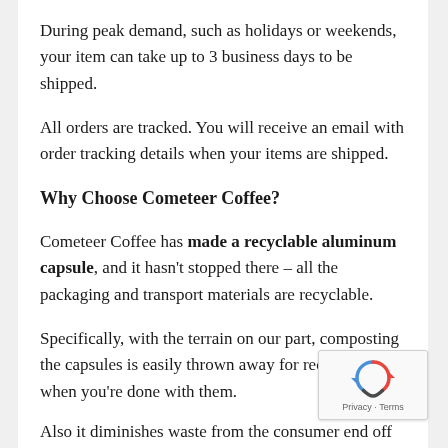During peak demand, such as holidays or weekends, your item can take up to 3 business days to be shipped.
All orders are tracked. You will receive an email with order tracking details when your items are shipped.
Why Choose Cometeer Coffee?
Cometeer Coffee has made a recyclable aluminum capsule, and it hasn't stopped there – all the packaging and transport materials are recyclable.
Specifically, with the terrain on our part, composting the capsules is easily thrown away for recycling when you're done with them.
Also it diminishes waste from the consumer end off